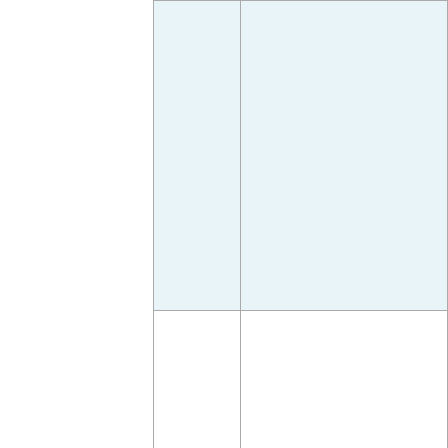| Distance | Description |
| --- | --- |
|  |  |
| 9.4
15.2 | Exit #54 B ... |
| 11.1
17.9 | Exit #52 B ... |
|  | View from ... |